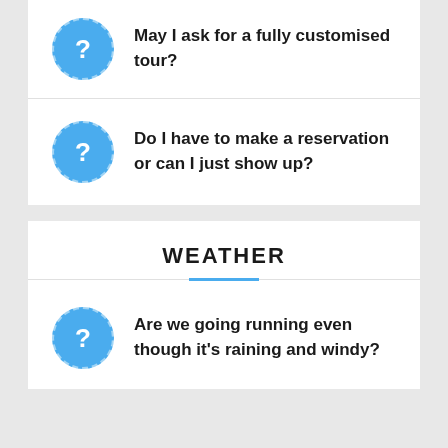May I ask for a fully customised tour?
Do I have to make a reservation or can I just show up?
WEATHER
Are we going running even though it's raining and windy?